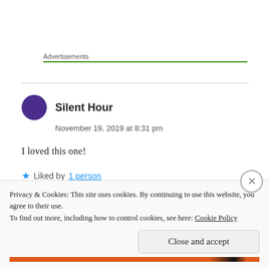Advertisements
Silent Hour
November 19, 2019 at 8:31 pm
I loved this one!
Liked by 1 person
Privacy & Cookies: This site uses cookies. By continuing to use this website, you agree to their use.
To find out more, including how to control cookies, see here: Cookie Policy
Close and accept